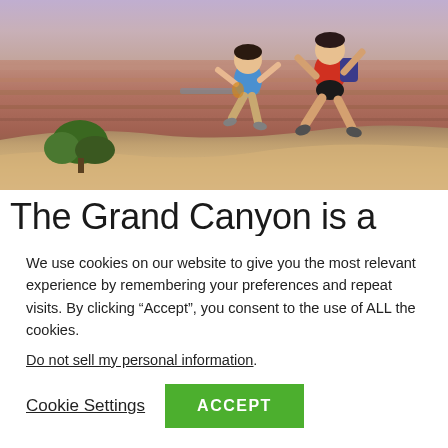[Figure (photo): Two people jumping joyfully at the rim of the Grand Canyon with layered red canyon walls and a hint of the Colorado River visible in the background. One person wears a blue top, the other a red shirt with a backpack.]
The Grand Canyon is a steep-sided canyon carved by the Colorado River in
We use cookies on our website to give you the most relevant experience by remembering your preferences and repeat visits. By clicking “Accept”, you consent to the use of ALL the cookies.
Do not sell my personal information.
Cookie Settings   ACCEPT